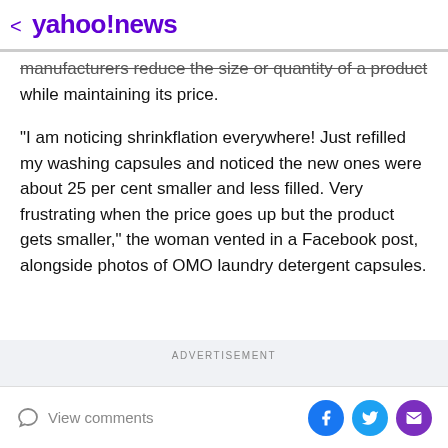< yahoo!news
manufacturers reduce the size or quantity of a product while maintaining its price.
"I am noticing shrinkflation everywhere! Just refilled my washing capsules and noticed the new ones were about 25 per cent smaller and less filled. Very frustrating when the price goes up but the product gets smaller," the woman vented in a Facebook post, alongside photos of OMO laundry detergent capsules.
ADVERTISEMENT
View comments